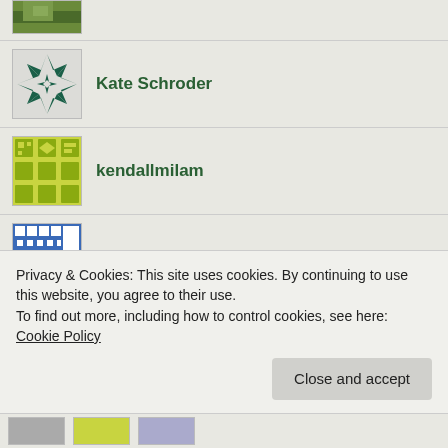[Figure (photo): Partial top avatar - nature/landscape photo cropped at top]
Kate Schroder
kendallmilam
lc4347a
lilavalladares
Privacy & Cookies: This site uses cookies. By continuing to use this website, you agree to their use.
To find out more, including how to control cookies, see here: Cookie Policy
Close and accept